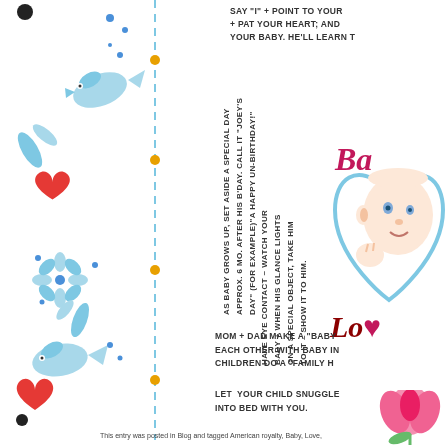[Figure (illustration): Left side decorative border with blue bird/fish illustrations, red hearts, black dots, orange dots, blue flowers, and a vertical dashed blue line]
SAY "I" + POINT TO YOUR [chest] + PAT YOUR HEART; AND [point to] YOUR BABY. HE'LL LEARN [to]
AS BABY GROWS UP, SET ASIDE A SPECIAL DAY APPROX. 6 MO. AFTER HIS B'DAY. CALL IT "JOEY'S DAY" (FOR EXAMPLE)"A HAPPY UN-BIRTHDAY!"
HAVE EYE CONTACT ~ WATCH YOUR BABY + WHEN HIS GLANCE LIGHTS ON A SPECIAL OBJECT, TAKE HIM TO IT – SHOW IT TO HIM.
[Figure (illustration): Baby face illustration inside a blue heart outline, with pink/magenta cursive text 'Ba' visible]
Lo
MOM + DAD MAKE A "BABY [hug]" EACH OTHER WITH BABY IN [between]; CHILDREN DO A "FAMILY H[ug]"
LET YOUR CHILD SNUGGLE [up] INTO BED WITH YOU.
[Figure (illustration): Pink flower/tulip illustration]
This entry was posted in Blog and tagged American royalty, Baby, Love,